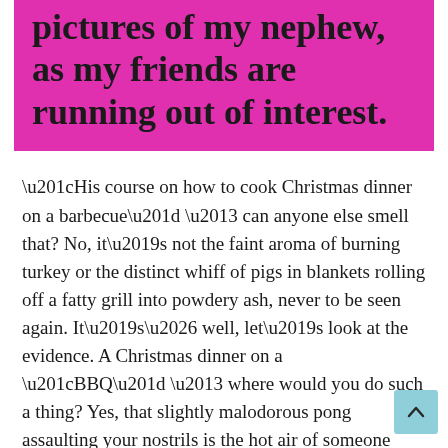pictures of my nephew, as my friends are running out of interest.
“His course on how to cook Christmas dinner on a barbecue” – can anyone else smell that? No, it’s not the faint aroma of burning turkey or the distinct whiff of pigs in blankets rolling off a fatty grill into powdery ash, never to be seen again. It’s… well, let’s look at the evidence. A Christmas dinner on a “BBQ” – where would you do such a thing? Yes, that slightly malodorous pong assaulting your nostrils is the hot air of someone chatting about their gap year Down Under, isn’t it? Just hold your nose until it